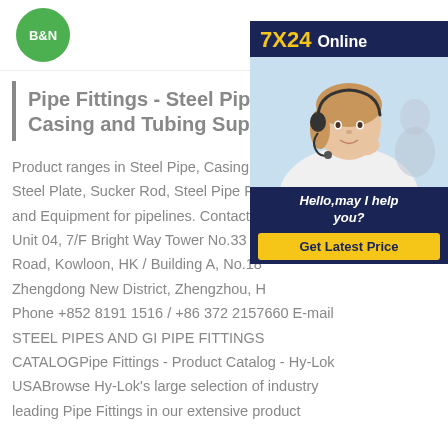B&N logo and navigation
Pipe Fittings - Steel Pipe, Casing and Tubing Supplier
[Figure (infographic): 7X24 Online chat widget with a customer service representative photo, 'Hello, may I help you?' text and 'Get Latest Price' button]
Product ranges in Steel Pipe, Casing and Steel Plate, Sucker Rod, Steel Pipe Fittings and Equipment for pipelines. Contact Us: Unit 04, 7/F Bright Way Tower No.33 Mong Kok Road, Kowloon, HK / Building A, No.18 Zhengdong New District, Zhengzhou, Phone +852 8191 1516 / +86 372 2157660 E-mail STEEL PIPES AND GI PIPE FITTINGS CATALOGPipe Fittings - Product Catalog - Hy-Lok USABrowse Hy-Lok's large selection of industry leading Pipe Fittings in our extensive product